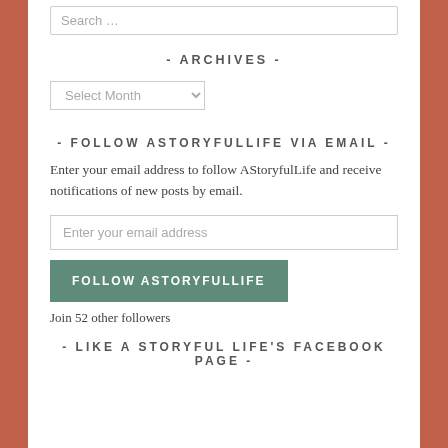Search …
- ARCHIVES -
Select Month
- FOLLOW ASTORYFULLIFE VIA EMAIL -
Enter your email address to follow AStoryfulLife and receive notifications of new posts by email.
Enter your email address
FOLLOW ASTORYFULLIFE
Join 52 other followers
- LIKE A STORYFUL LIFE'S FACEBOOK PAGE -